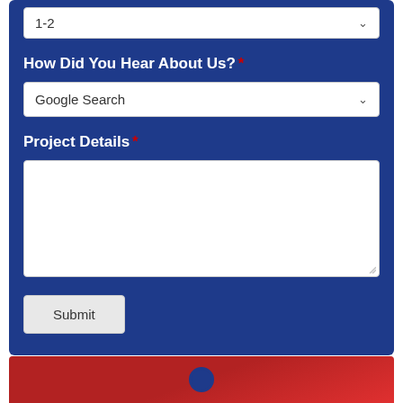1-2
How Did You Hear About Us? *
Google Search
Project Details *
Submit
[Figure (screenshot): Red banner section at the bottom with a blue map pin icon in the center]